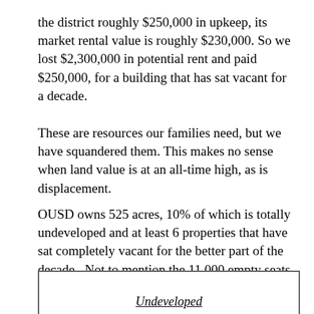the district roughly $250,000 in upkeep, its market rental value is roughly $230,000. So we lost $2,300,000 in potential rent and paid $250,000, for a building that has sat vacant for a decade.
These are resources our families need, but we have squandered them. This makes no sense when land value is at an all-time high, as is displacement.
OUSD owns 525 acres, 10% of which is totally undeveloped and at least 6 properties that have sat completely vacant for the better part of the decade.  Not to mention the 11,000 empty seats in underutilized schools. Meanwhile we see year after year cuts in services and budgets, and more kids and families out on the street.
[Figure (other): Partial view of a box/table at the bottom of the page with an underlined italic label text visible]